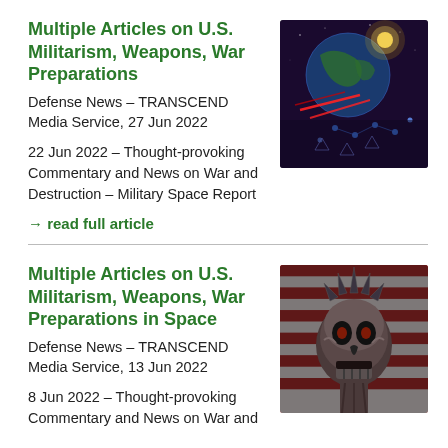Multiple Articles on U.S. Militarism, Weapons, War Preparations
Defense News – TRANSCEND Media Service, 27 Jun 2022
22 Jun 2022 – Thought-provoking Commentary and News on War and Destruction – Military Space Report
→ read full article
[Figure (photo): Dramatic illustration of Earth from space with glowing red and blue lights suggesting military or space warfare technology]
Multiple Articles on U.S. Militarism, Weapons, War Preparations in Space
Defense News – TRANSCEND Media Service, 13 Jun 2022
8 Jun 2022 – Thought-provoking Commentary and News on War and
[Figure (illustration): Dark illustration of a skull-faced Statue of Liberty with American flag background, suggesting militarism and death]